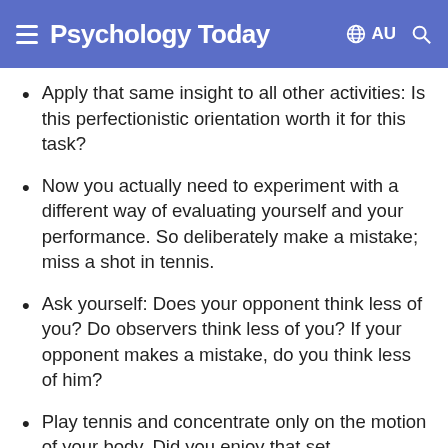Psychology Today  AU
Apply that same insight to all other activities: Is this perfectionistic orientation worth it for this task?
Now you actually need to experiment with a different way of evaluating yourself and your performance. So deliberately make a mistake; miss a shot in tennis.
Ask yourself: Does your opponent think less of you? Do observers think less of you? If your opponent makes a mistake, do you think less of him?
Play tennis and concentrate only on the motion of your body. Did you enjoy that set